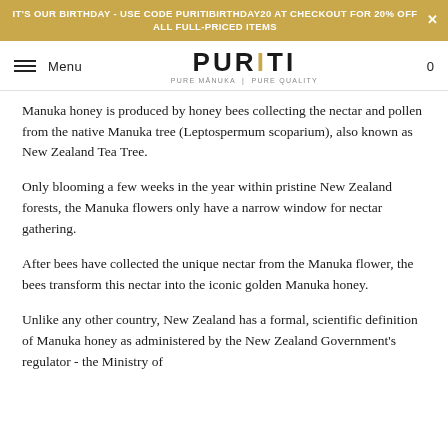IT'S OUR BIRTHDAY - USE CODE PURITIBIRTHDAY20 AT CHECKOUT FOR 20% OFF ALL FULL-PRICED ITEMS
[Figure (logo): PURITI logo with tagline PURE MANUKA | PURE QUALITY]
Manuka honey is produced by honey bees collecting the nectar and pollen from the native Manuka tree (Leptospermum scoparium), also known as New Zealand Tea Tree.
Only blooming a few weeks in the year within pristine New Zealand forests, the Manuka flowers only have a narrow window for nectar gathering.
After bees have collected the unique nectar from the Manuka flower, the bees transform this nectar into the iconic golden Manuka honey.
Unlike any other country, New Zealand has a formal, scientific definition of Manuka honey as administered by the New Zealand Government's regulator - the Ministry of